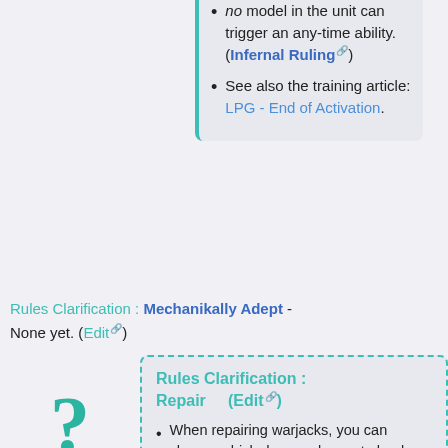no model in the unit can trigger an any-time ability. (Infernal Ruling)
See also the training article: LPG - End of Activation.
Rules Clarification : Mechanikally Adept - None yet. (Edit)
Rules Clarification : Repair (Edit)
When repairing warjacks, you can choose which damage boxes to heal - they don't all